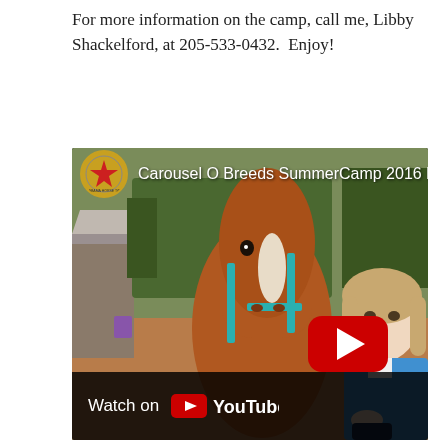For more information on the camp, call me, Libby Shackelford, at 205-533-0432.  Enjoy!
[Figure (screenshot): YouTube video thumbnail showing a chestnut horse with a teal halter standing next to a young woman with blonde hair wearing a blue top. The video is titled 'Carousel O Breeds SummerCamp 2016 by So...' with an Alabama Horse Talk logo in the top left corner, a red YouTube play button overlay, and a 'Watch on YouTube' bar at the bottom.]